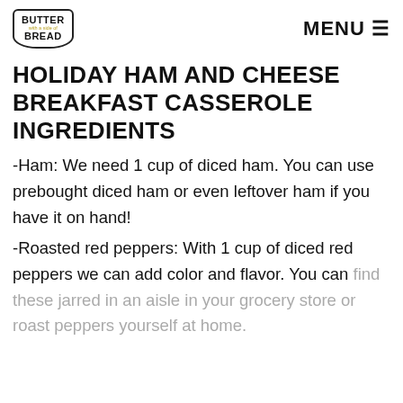BUTTER with a side of BREAD | MENU
HOLIDAY HAM AND CHEESE BREAKFAST CASSEROLE INGREDIENTS
-Ham: We need 1 cup of diced ham. You can use prebought diced ham or even leftover ham if you have it on hand!
-Roasted red peppers: With 1 cup of diced red peppers we can add color and flavor. You can find these jarred in an aisle in your grocery store or roast peppers yourself at home.